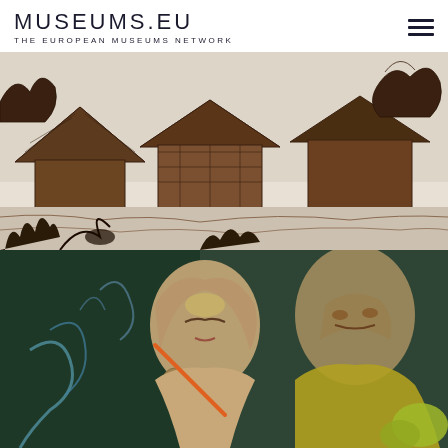MUSEUMS.EU — THE EUROPEAN MUSEUMS NETWORK
[Figure (illustration): A detailed ink drawing/sketch of rural village buildings with thatched roofs and trees, rendered in dark brown/sepia tones on a light background. The sketch shows wooden structures and foliage in an expressionist style.]
[Figure (illustration): A colorful expressionist painting showing two figures — a woman with closed eyes and flowing hair adorned with round decorative elements, and another figure beside her. The palette includes greens, yellows, oranges, and blues on a dark background.]